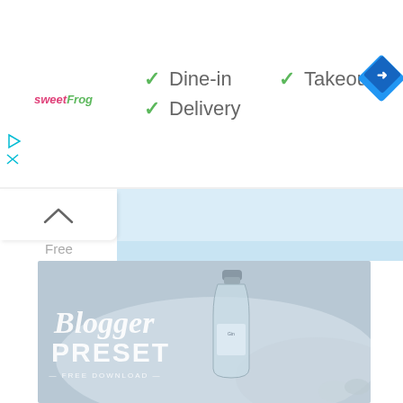[Figure (screenshot): Top bar of a Google Maps or similar app showing a sweetFrog restaurant listing with Dine-in, Takeout, and Delivery options checked, along with navigation icons and a blue diamond direction icon in the top right.]
[Figure (photo): A 'Blogger Preset Free Download' promotional image showing a glass bottle on a white cloth with winter decorations, overlaid with white script and bold text.]